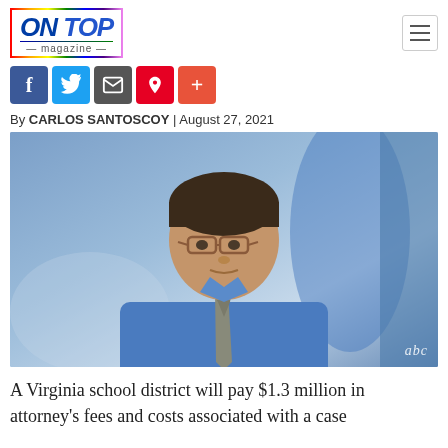ON TOP magazine
[Figure (logo): ON TOP magazine logo with rainbow border]
[Figure (other): Social media sharing icons: Facebook, Twitter, Email, Pinterest, Plus]
By CARLOS SANTOSCOY | August 27, 2021
[Figure (photo): A young person wearing glasses, a blue collared shirt and gray tie, seated on a talk show set. ABC watermark in lower right corner.]
A Virginia school district will pay $1.3 million in attorney's fees and costs associated with a case